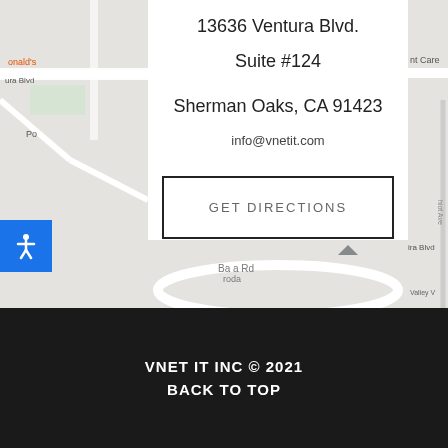[Figure (map): Google Maps view showing streets near 13636 Ventura Blvd, Sherman Oaks, CA with a location pin visible on the left strip and street labels including Ventura Blvd, Baroda Rd, and Valley Vl]
13636 Ventura Blvd.
Suite #124
Sherman Oaks, CA 91423
info@vnetit.com
GET DIRECTIONS
VNET IT INC © 2021
BACK TO TOP